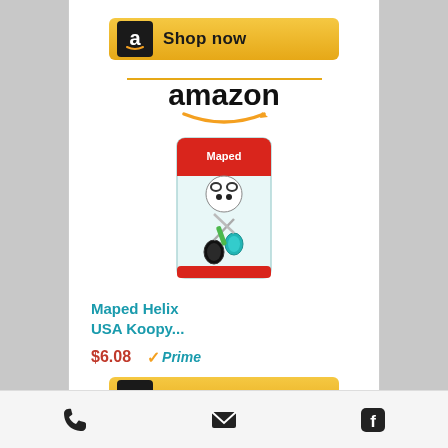[Figure (screenshot): Amazon 'Shop now' button at top with Amazon 'a' icon on dark background, gold/yellow button]
[Figure (logo): Amazon logo with orange smile arrow below text, and orange divider line above]
[Figure (photo): Maped Helix USA Koopy scissors product image in packaging]
Maped Helix USA Koopy...
$6.08  ✓Prime
[Figure (screenshot): Amazon 'Shop now' button at bottom with Amazon 'a' icon on dark background, gold/yellow button]
Phone icon, Email/envelope icon, Facebook icon